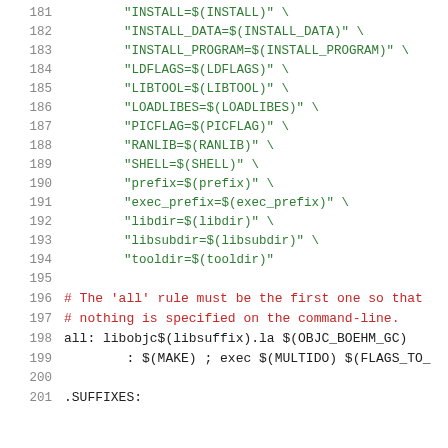181   "INSTALL=$(INSTALL)" \
182   "INSTALL_DATA=$(INSTALL_DATA)" \
183   "INSTALL_PROGRAM=$(INSTALL_PROGRAM)" \
184   "LDFLAGS=$(LDFLAGS)" \
185   "LIBTOOL=$(LIBTOOL)" \
186   "LOADLIBES=$(LOADLIBES)" \
187   "PICFLAG=$(PICFLAG)" \
188   "RANLIB=$(RANLIB)" \
189   "SHELL=$(SHELL)" \
190   "prefix=$(prefix)" \
191   "exec_prefix=$(exec_prefix)" \
192   "libdir=$(libdir)" \
193   "libsubdir=$(libsubdir)" \
194   "tooldir=$(tooldir)"
195
196   # The 'all' rule must be the first one so that
197   # nothing is specified on the command-line.
198   all: libobjc$(libsuffix).la $(OBJC_BOEHM_GC)
199           : $(MAKE) ; exec $(MULTIDO) $(FLAGS_TO_
200
201   .SUFFIXES: